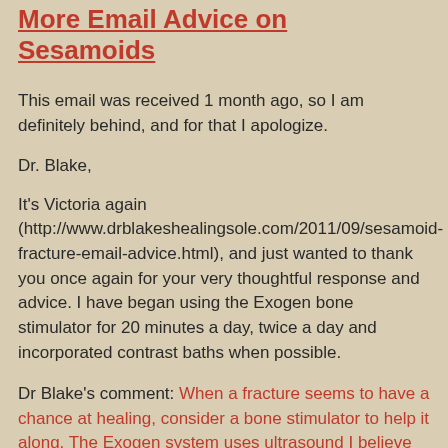More Email Advice on Sesamoids
This email was received 1 month ago, so I am definitely behind, and for that I apologize.
Dr. Blake,
It's Victoria again (http://www.drblakeshealingsole.com/2011/09/sesamoid-fracture-email-advice.html), and just wanted to thank you once again for your very thoughtful response and advice. I have began using the Exogen bone stimulator for 20 minutes a day, twice a day and incorporated contrast baths when possible.
Dr Blake's comment: When a fracture seems to have a chance at healing, consider a bone stimulator to help it along. The Exogen system uses ultrasound I believe and can be effective at 20 minutes twice daily.
I am really hoping for the best and doing all I can to avoid surgery, but I wanted to pick your brain to see what conditions have to exist for you to believe surgery really is